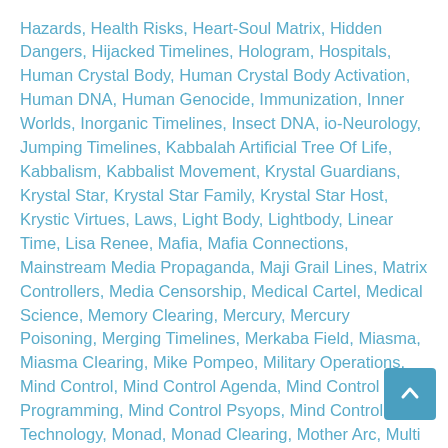Hazards, Health Risks, Heart-Soul Matrix, Hidden Dangers, Hijacked Timelines, Hologram, Hospitals, Human Crystal Body, Human Crystal Body Activation, Human DNA, Human Genocide, Immunization, Inner Worlds, Inorganic Timelines, Insect DNA, io-Neurology, Jumping Timelines, Kabbalah Artificial Tree Of Life, Kabbalism, Kabbalist Movement, Krystal Guardians, Krystal Star, Krystal Star Family, Krystal Star Host, Krystic Virtues, Laws, Light Body, Lightbody, Linear Time, Lisa Renee, Mafia, Mafia Connections, Mainstream Media Propaganda, Maji Grail Lines, Matrix Controllers, Media Censorship, Medical Cartel, Medical Science, Memory Clearing, Mercury, Mercury Poisoning, Merging Timelines, Merkaba Field, Miasma, Miasma Clearing, Mike Pompeo, Military Operations, Mind Control, Mind Control Agenda, Mind Control Programming, Mind Control Psyops, Mind Control Technology, Monad, Monad Clearing, Mother Arc, Multiple Timelines, Murder, NAA, NAA (Negative Alien Agenda}, NAA False Timelines, NAA Slavery Programs, Negative Alien Agenda, Negative Alien Invasion, Negative Alien Technology,